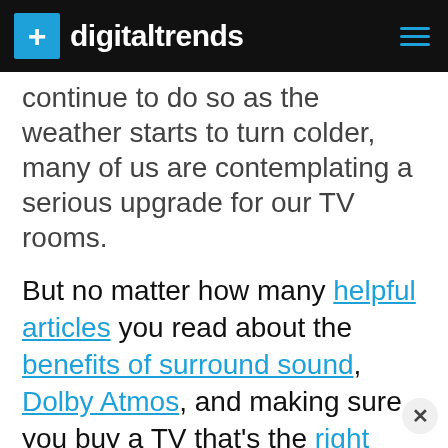digitaltrends
continue to do so as the weather starts to turn colder, many of us are contemplating a serious upgrade for our TV rooms.
But no matter how many helpful articles you read about the benefits of surround sound, Dolby Atmos, and making sure you buy a TV that's the right size for your viewing distance, actually visualizing what your new home theater should look like